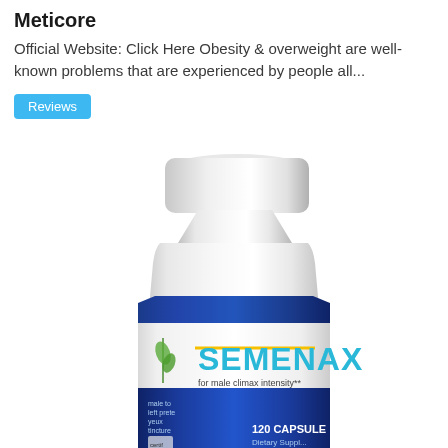Meticore
Official Website: Click Here Obesity & overweight are well-known problems that are experienced by people all...
Reviews
[Figure (photo): A white plastic supplement bottle labeled SEMENAX for male climax intensity, 120 capsules dietary supplement, with a blue label band and teal brand text.]